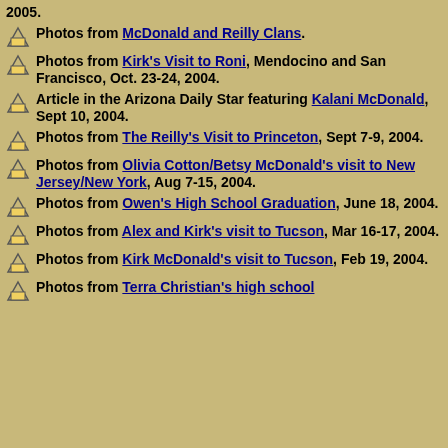Photos from McDonald and Reilly Clans.
Photos from Kirk's Visit to Roni, Mendocino and San Francisco, Oct. 23-24, 2004.
Article in the Arizona Daily Star featuring Kalani McDonald, Sept 10, 2004.
Photos from The Reilly's Visit to Princeton, Sept 7-9, 2004.
Photos from Olivia Cotton/Betsy McDonald's visit to New Jersey/New York, Aug 7-15, 2004.
Photos from Owen's High School Graduation, June 18, 2004.
Photos from Alex and Kirk's visit to Tucson, Mar 16-17, 2004.
Photos from Kirk McDonald's visit to Tucson, Feb 19, 2004.
Photos from Terra Christian's high school graduation, June 18, 2003. Kirby, Calum...